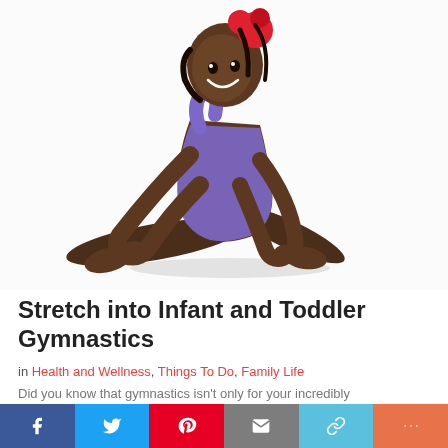[Figure (photo): Young girl in purple leotard with red flower hair accessory, sitting on white background doing a gymnastic stretch, reaching forward toward her feet and smiling]
Stretch into Infant and Toddler Gymnastics
in Health and Wellness, Things To Do, Family Life
Did you know that gymnastics isn't only for your incredibly